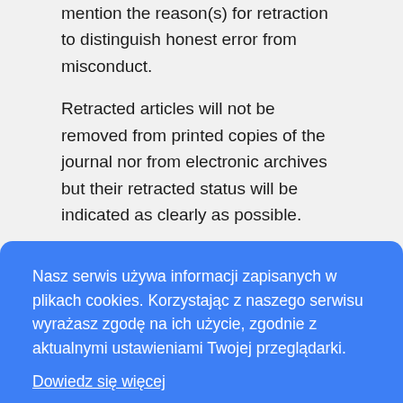mention the reason(s) for retraction to distinguish honest error from misconduct.
Retracted articles will not be removed from printed copies of the journal nor from electronic archives but their retracted status will be indicated as clearly as possible.
[Figure (screenshot): Cookie consent overlay banner in blue with Polish text: 'Nasz serwis używa informacji zapisanych w plikach cookies. Korzystając z naszego serwisu wyrażasz zgodę na ich użycie, zgodnie z aktualnymi ustawieniami Twojej przeglądarki.' with a 'Dowiedz się więcej' link and an 'Akceptuję' button.]
paper should contain sufficient detail